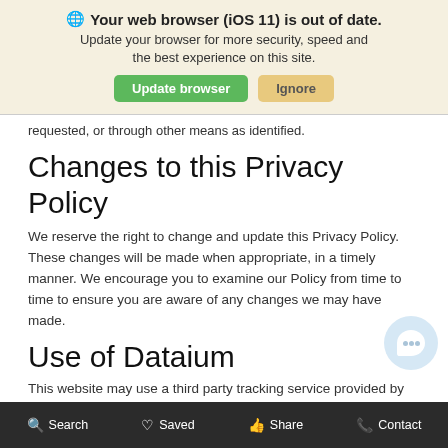[Figure (screenshot): Browser update notification banner with globe icon, bold title 'Your web browser (iOS 11) is out of date.', subtitle text, and two buttons: green 'Update browser' and tan 'Ignore']
requested, or through other means as identified.
Changes to this Privacy Policy
We reserve the right to change and update this Privacy Policy. These changes will be made when appropriate, in a timely manner. We encourage you to examine our Policy from time to time to ensure you are aware of any changes we may have made.
Use of Dataium
This website may use a third party tracking service provided by R.L. Polk & Co. to collect non-personally identifiable online demographical and behavioral data generated by website visitors. A
Search   Saved   Share   Contact